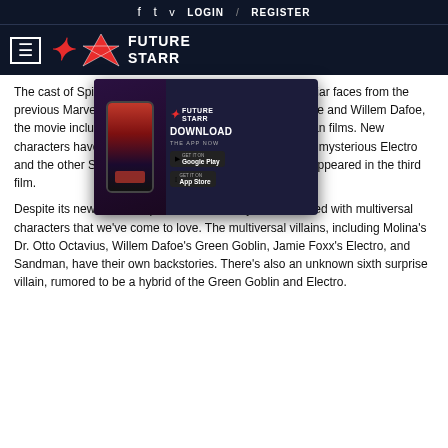f  t  v  LOGIN  /  REGISTER
[Figure (logo): Future Starr logo with hamburger menu on dark navy background]
The cast of Spider-Man: No Way Home is filled with familiar faces from the previous Marvel and Sony films. Along with Tobey Maguire and Willem Dafoe, the movie includes many actors from the other Spider-Man films. New characters have also been introduced in this film, like the mysterious Electro and the other Spider-Man. In fact, some of these actors appeared in the third film.
[Figure (infographic): Future Starr app advertisement with phone mockup, Download the App Now text, Google Play and App Store buttons, QR code, and www.futurestarr.com URL]
Despite its new villains, Spider-Man: No Way Home is filled with multiversal characters that we've come to love. The multiversal villains, including Molina's Dr. Otto Octavius, Willem Dafoe's Green Goblin, Jamie Foxx's Electro, and Sandman, have their own backstories. There's also an unknown sixth surprise villain, rumored to be a hybrid of the Green Goblin and Electro.